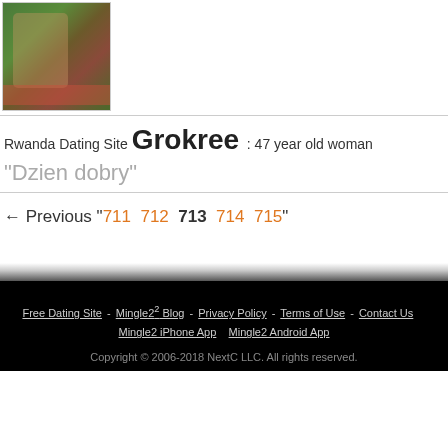[Figure (photo): Profile photo of a woman in a green dress standing in a field of red flowers]
Rwanda Dating Site Grokree : 47 year old woman
"Dzien dobry"
← Previous " 711  712  713  714  715 "
Free Dating Site - Mingle2 Blog - Privacy Policy - Terms of Use - Contact Us    Mingle2 iPhone App    Mingle2 Android App
Copyright © 2006-2018 NextC LLC. All rights reserved.